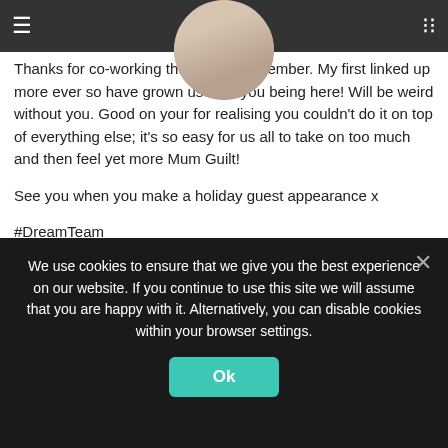Navigation bar with hamburger menu and list icon
Thanks for co-working the linky in December. My first linked up more ever so have grown used to you being here! Will be weird without you. Good on your for realising you couldn't do it on top of everything else; it's so easy for us all to take on too much and then feel yet more Mum Guilt!
See you when you make a holiday guest appearance x
#DreamTeam
Reply
Mrs Lighty says:
We use cookies to ensure that we give you the best experience on our website. If you continue to use this site we will assume that you are happy with it. Alternatively, you can disable cookies within your browser settings.
Ok